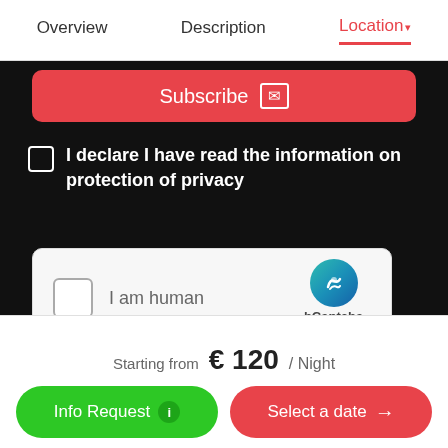Overview   Description   Location
Subscribe
I declare I have read the information on protection of privacy
[Figure (screenshot): hCaptcha widget with checkbox labeled 'I am human' and hCaptcha logo with Privacy - Terms links]
Starting from   € 120 / Night
Info Request
Select a date →